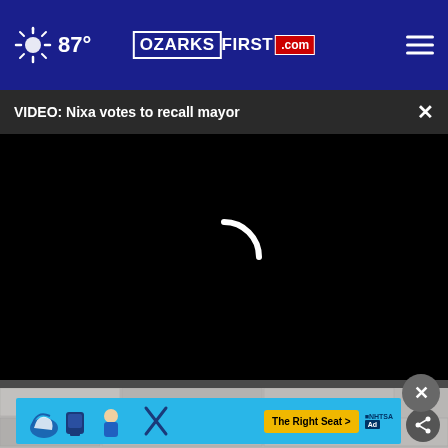87° | OZARKSFIRST.com
VIDEO: Nixa votes to recall mayor
[Figure (screenshot): Black video player area with a white spinning/loading arc indicator in the center, indicating a video is buffering or loading.]
[Figure (photo): Partially visible background image beneath ad banner showing a gray/stone surface.]
[Figure (infographic): NHTSA car seat safety advertisement banner with cyan background, car seat icons, and 'The Right Seat >' yellow button with NHTSA logo.]